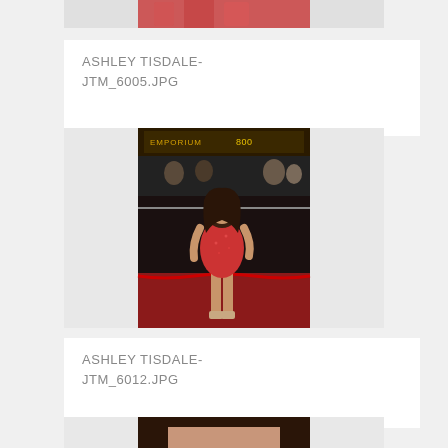[Figure (photo): Cropped top portion of a woman in a red patterned dress, partial view]
ASHLEY TISDALE-JTM_6005.JPG
[Figure (photo): Ashley Tisdale standing on a red carpet in a short red lace dress and nude heels, in front of an Emporium sign with crowd and barriers in background]
ASHLEY TISDALE-JTM_6012.JPG
[Figure (photo): Cropped top portion of a woman with dark hair, portrait headshot style]